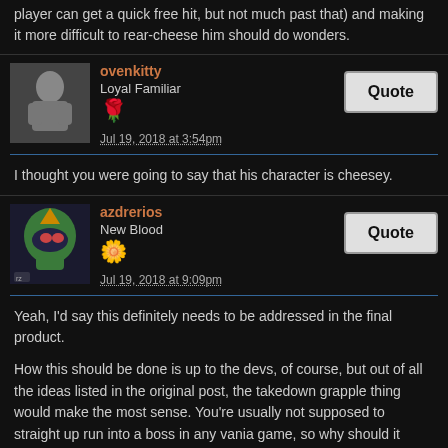player can get a quick free hit, but not much past that) and making it more difficult to rear-cheese him should do wonders.
ovenkitty
Loyal Familiar
Jul 19, 2018 at 3:54pm
I thought you were going to say that his character is cheesey.
azdrerios
New Blood
Jul 19, 2018 at 9:09pm
Yeah, I'd say this definitely needs to be addressed in the final product.

How this should be done is up to the devs, of course, but out of all the ideas listed in the original post, the takedown grapple thing would make the most sense. You're usually not supposed to straight up run into a boss in any vania game, so why should it suddenly work here?

However, if grappling just doesn't sound right for our man, then perhaps some sort of punishing evasive maneuver would suffice? Making him completely immune to attacks from behind would weigh heavily on immersion, especially when there's absolutely nothing in Zangu's visual